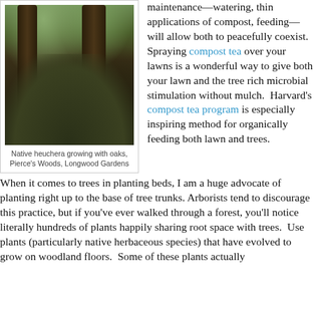[Figure (photo): Native heuchera growing with oaks at Pierce's Woods, Longwood Gardens. Dense ground cover of dark-leaved plants growing at the base of two large oak tree trunks.]
Native heuchera growing with oaks, Pierce's Woods, Longwood Gardens
maintenance—watering, thin applications of compost, feeding—will allow both to peacefully coexist. Spraying compost tea over your lawns is a wonderful way to give both your lawn and the tree rich microbial stimulation without mulch. Harvard's compost tea program is especially inspiring method for organically feeding both lawn and trees.
When it comes to trees in planting beds, I am a huge advocate of planting right up to the base of tree trunks. Arborists tend to discourage this practice, but if you've ever walked through a forest, you'll notice literally hundreds of plants happily sharing root space with trees. Use plants (particularly native herbaceous species) that have evolved to grow on woodland floors. Some of these plants actually